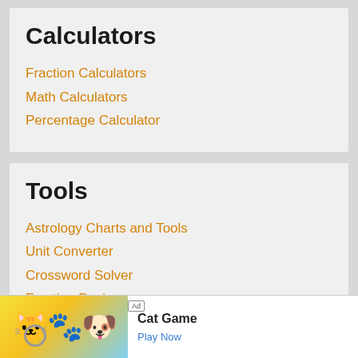Calculators
Fraction Calculators
Math Calculators
Percentage Calculator
Tools
Astrology Charts and Tools
Unit Converter
Crossword Solver
Fraction Designer
Games
[Figure (other): Advertisement banner for Cat Game mobile app with cartoon cat characters and Play Now button]